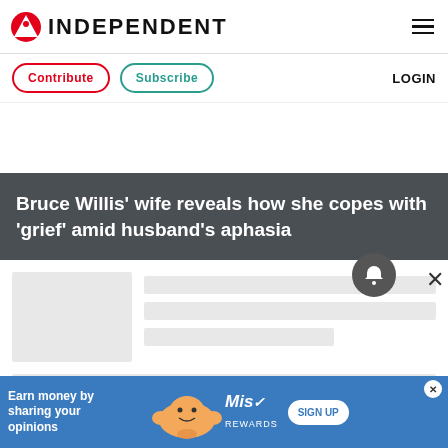INDEPENDENT
Contribute | Subscribe | LOGIN
Bruce Willis’ wife reveals how she copes with ‘grief’ amid husband’s aphasia
[Figure (screenshot): Article thumbnail placeholder and loading skeleton lines for article metadata]
[Figure (screenshot): Advertisement banner: Earn money by sharing your opinions - Mis Rewards sign up]